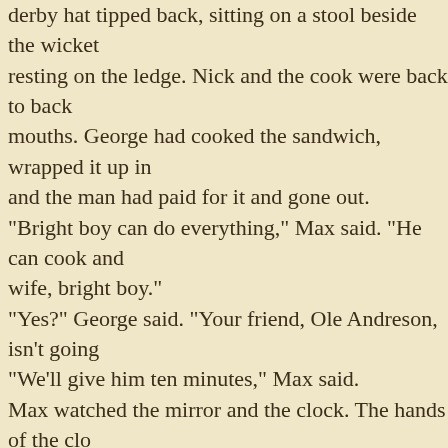derby hat tipped back, sitting on a stool beside the wicket resting on the ledge. Nick and the cook were back to back mouths. George had cooked the sandwich, wrapped it up in and the man had paid for it and gone out.
"Bright boy can do everything," Max said. "He can cook and wife, bright boy."
"Yes?" George said. "Your friend, Ole Andreson, isn't going
"We'll give him ten minutes," Max said.
Max watched the mirror and the clock. The hands of the clock minutes past seven.
"Come on, Al," said Max. "We better go. He's not coming."
"Better give him five minutes," Al said from the kitchen.
In the five minutes a man came in, and George explained that
"Why the hell don't you get another cook?" the man asked. went out.
"Come on, Al," Max said.
"What about the two bright boys and the nigger?"
"They're all right."
"You think so?"
"Sure. We're through with it."
"I don't like it," said Al. "It's sloppy. You talk too much."